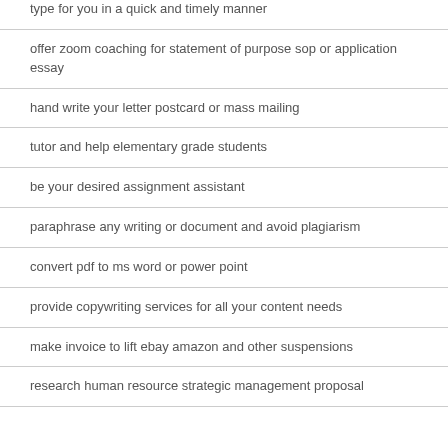type for you in a quick and timely manner
offer zoom coaching for statement of purpose sop or application essay
hand write your letter postcard or mass mailing
tutor and help elementary grade students
be your desired assignment assistant
paraphrase any writing or document and avoid plagiarism
convert pdf to ms word or power point
provide copywriting services for all your content needs
make invoice to lift ebay amazon and other suspensions
research human resource strategic management proposal